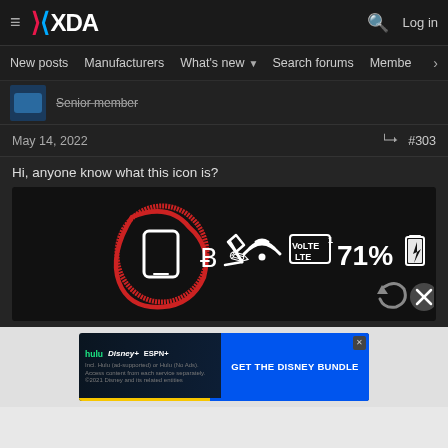XDA Developers forum navigation bar with logo, search, and Log in
New posts  Manufacturers  What's new  Search forums  Members  >
Senior member
May 14, 2022  #303
Hi, anyone know what this icon is?
[Figure (screenshot): Android status bar screenshot showing circled phone/tablet icon, Bluetooth icon, edit icon, WiFi icon, LTE icon, 71% battery indicator]
[Figure (infographic): Disney Bundle advertisement banner with Hulu, Disney+, ESPN+ logos and GET THE DISNEY BUNDLE call-to-action]